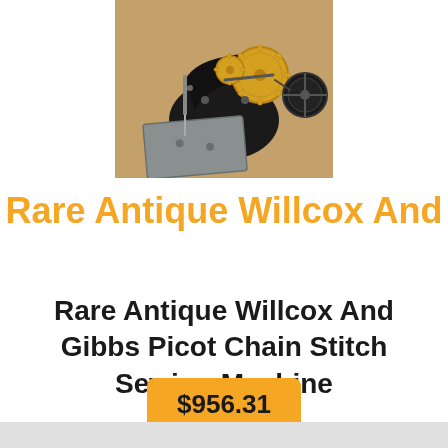[Figure (photo): Close-up photo of an antique Willcox and Gibbs Picot Chain Stitch Sewing Machine mechanism showing metal gears and components on a wooden surface]
Rare Antique Willcox And
Rare Antique Willcox And Gibbs Picot Chain Stitch Sewing Machine
$956.31